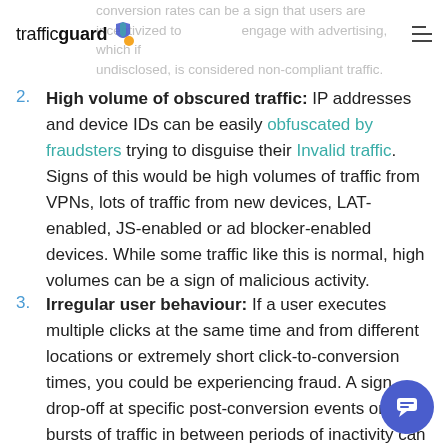trafficguard [logo] engage with advertising, which if undisclosed, is considered non-compliant traffic.
2. High volume of obscured traffic: IP addresses and device IDs can be easily obfuscated by fraudsters trying to disguise their Invalid traffic. Signs of this would be high volumes of traffic from VPNs, lots of traffic from new devices, LAT-enabled, JS-enabled or ad blocker-enabled devices. While some traffic like this is normal, high volumes can be a sign of malicious activity.
3. Irregular user behaviour: If a user executes multiple clicks at the same time and from different locations or extremely short click-to-conversion times, you could be experiencing fraud. A sign drop-off at specific post-conversion events or bursts of traffic in between periods of inactivity can